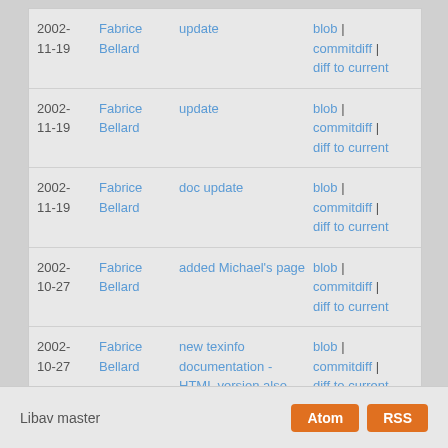| Date | Author | Message | Links |
| --- | --- | --- | --- |
| 2002-11-19 | Fabrice Bellard | update | blob | commitdiff | diff to current |
| 2002-11-19 | Fabrice Bellard | update | blob | commitdiff | diff to current |
| 2002-11-19 | Fabrice Bellard | doc update | blob | commitdiff | diff to current |
| 2002-10-27 | Fabrice Bellard | added Michael's page | blob | commitdiff | diff to current |
| 2002-10-27 | Fabrice Bellard | new texinfo documentation - HTML version also included | blob | commitdiff | diff to current |
Libav master   Atom  RSS